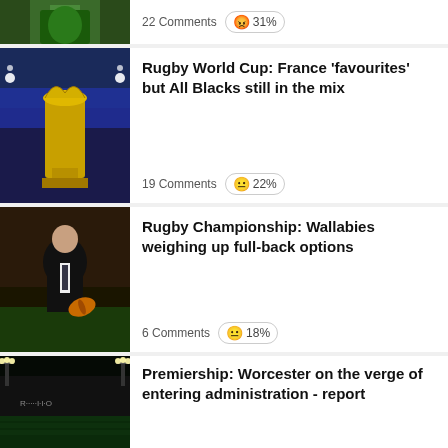[Figure (photo): Partial rugby player photo at top]
22 Comments  😡 31%
[Figure (photo): Rugby World Cup trophy on stadium background]
Rugby World Cup: France 'favourites' but All Blacks still in the mix
19 Comments  😐 22%
[Figure (photo): Rugby coach/man in suit holding ball on stadium pitch]
Rugby Championship: Wallabies weighing up full-back options
6 Comments  😐 18%
[Figure (photo): Empty rugby stadium at night with floodlights]
Premiership: Worcester on the verge of entering administration - report
[Figure (infographic): Ryder Cup advertisement: GET TICKET UPDATES with logo and players photo]